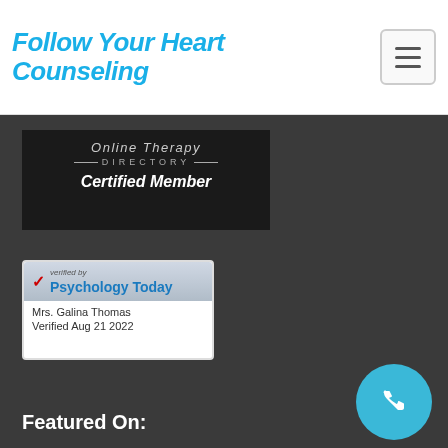Follow Your Heart Counseling
[Figure (logo): Online Therapy Directory – Certified Member badge, dark background with white italic text]
[Figure (logo): Psychology Today verified badge – verified by Psychology Today, Mrs. Galina Thomas, Verified Aug 21 2022]
Featured On: